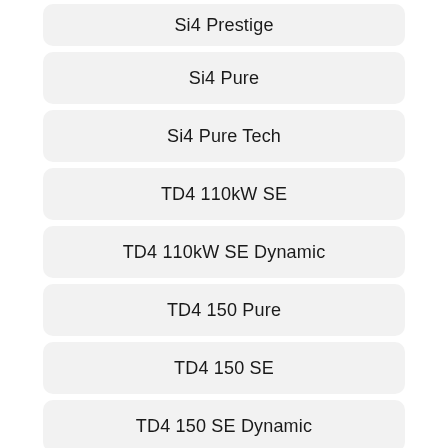Si4 Prestige
Si4 Pure
Si4 Pure Tech
TD4 110kW SE
TD4 110kW SE Dynamic
TD4 150 Pure
TD4 150 SE
TD4 150 SE Dynamic
TD4 180 HSE